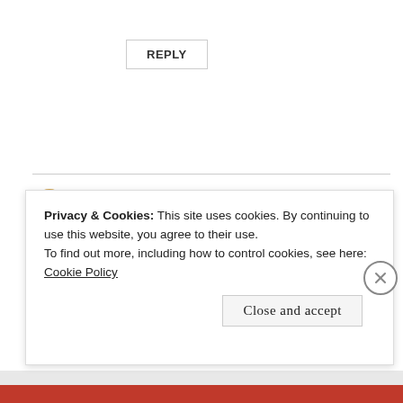REPLY
Shawn
October 1, 2018 at 7:45 pm
Privacy & Cookies: This site uses cookies. By continuing to use this website, you agree to their use.
To find out more, including how to control cookies, see here: Cookie Policy
Close and accept